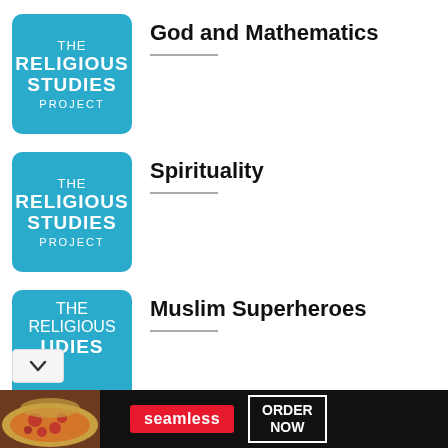[Figure (logo): The Religious Studies Project logo - blue square with white text]
God and Mathematics
[Figure (logo): The Religious Studies Project logo - blue square with white text]
Spirituality
[Figure (logo): The Religious Studies Project logo - blue square with white text (partial)]
Muslim Superheroes
[Figure (screenshot): Seamless food delivery advertisement banner with pizza image, seamless logo, and ORDER NOW button]